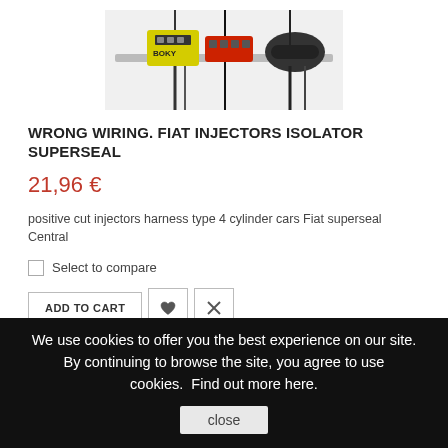[Figure (photo): Fiat injectors isolator superseal connector product photo showing multiple colored electrical connectors on a bar]
WRONG WIRING. FIAT INJECTORS ISOLATOR SUPERSEAL
21,96 €
positive cut injectors harness type 4 cylinder cars Fiat superseal Central
Select to compare
ADD TO CART
We use cookies to offer you the best experience on our site. By continuing to browse the site, you agree to use cookies. Find out more here. close